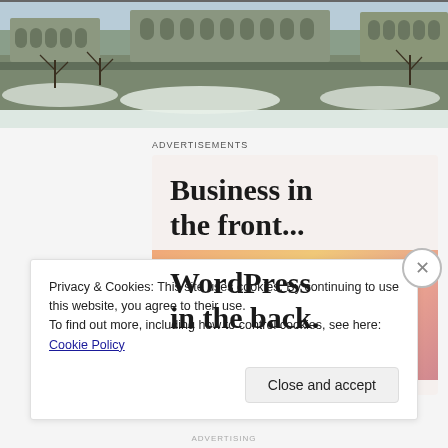[Figure (photo): Aerial winter photo of a city with snow-covered ground, buildings with arched architecture, and bare trees along a wall or embankment.]
ADVERTISEMENTS
[Figure (other): WordPress advertisement: top half shows 'Business in the front...' in bold serif on light beige background; bottom half shows 'WordPress in the back.' in bold serif on a colorful peach/orange gradient background.]
Privacy & Cookies: This site uses cookies. By continuing to use this website, you agree to their use.
To find out more, including how to control cookies, see here: Cookie Policy
Close and accept